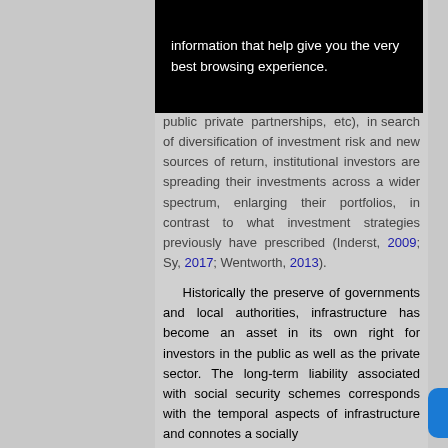[Figure (screenshot): Black overlay box with white text reading 'information that help give you the very best browsing experience.']
public private partnerships, etc), in search of diversification of investment risk and new sources of return, institutional investors are spreading their investments across a wider spectrum, enlarging their portfolios, in contrast to what investment strategies previously have prescribed (Inderst, 2009; Sy, 2017; Wentworth, 2013).
Historically the preserve of governments and local authorities, infrastructure has become an asset in its own right for investors in the public as well as the private sector. The long-term liability associated with social security schemes corresponds with the temporal aspects of infrastructure and connotes a socially